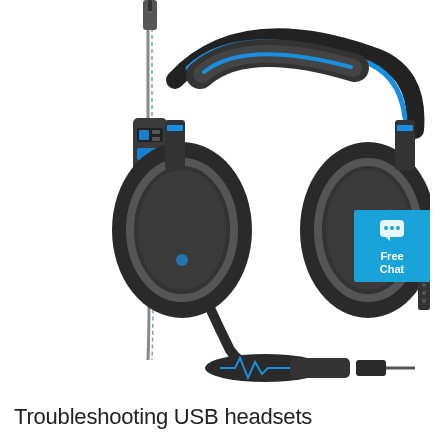[Figure (photo): A black and blue gaming headset with over-ear cushions, an adjustable mic boom, and a braided cable with an inline control module and 3.5mm audio jack. The headset has blue accent lighting and markings. There is a blue chat badge in the upper right corner showing a speech bubble icon with 'Free Chat' text.]
Troubleshooting USB headsets